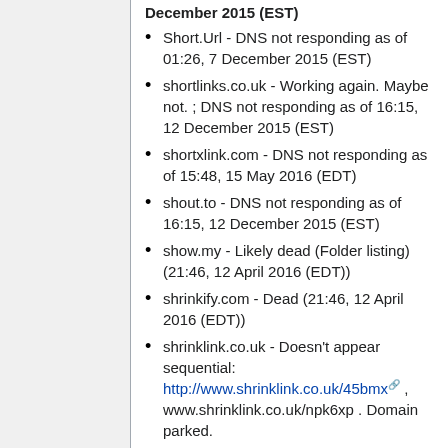Short.Url - DNS not responding as of 01:26, 7 December 2015 (EST)
shortlinks.co.uk - Working again. Maybe not. ; DNS not responding as of 16:15, 12 December 2015 (EST)
shortxlink.com - DNS not responding as of 15:48, 15 May 2016 (EDT)
shout.to - DNS not responding as of 16:15, 12 December 2015 (EST)
show.my - Likely dead (Folder listing) (21:46, 12 April 2016 (EDT))
shrinkify.com - Dead (21:46, 12 April 2016 (EDT))
shrinklink.co.uk - Doesn't appear sequential: http://www.shrinklink.co.uk/45bmx , www.shrinklink.co.uk/npk6xp . Domain parked.
shrinkr.com - formerly did link